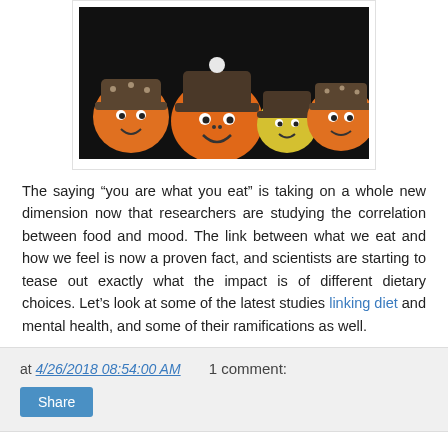[Figure (photo): Four orange and yellow fruit characters with googly eyes, smiles, and knit winter hats, arranged in a row against a dark background.]
The saying “you are what you eat” is taking on a whole new dimension now that researchers are studying the correlation between food and mood. The link between what we eat and how we feel is now a proven fact, and scientists are starting to tease out exactly what the impact is of different dietary choices. Let’s look at some of the latest studies linking diet and mental health, and some of their ramifications as well.
at 4/26/2018 08:54:00 AM   1 comment:
Share
KZ performs for Filipino crowd for the